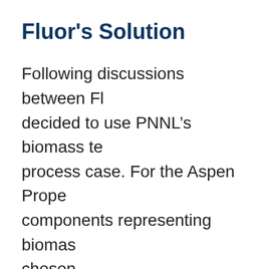Fluor's Solution
Following discussions between Fl... decided to use PNNL’s biomass te... process case. For the Aspen Prope... components representing biomas... chosen.
Investigation of thermodynamic p... used for the existing hydrotherm... Aspen model provided mass and...